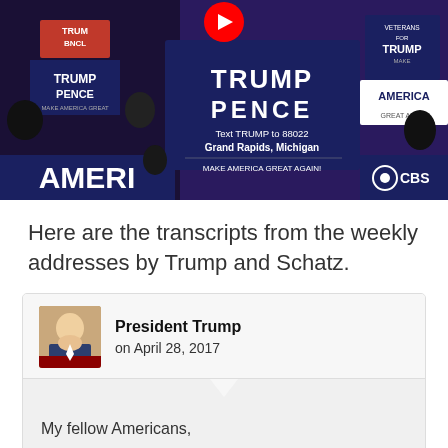[Figure (photo): Photo of a Trump-Pence campaign rally in Grand Rapids, Michigan, with campaign signs visible including 'TRUMP PENCE', 'Make America Great Again', 'Text TRUMP to 88022', CBS News logo, and a YouTube play button overlay at top center.]
Here are the transcripts from the weekly addresses by Trump and Schatz.
President Trump
on April 28, 2017
My fellow Americans,
I truly believe that the first 100 days of my Administration